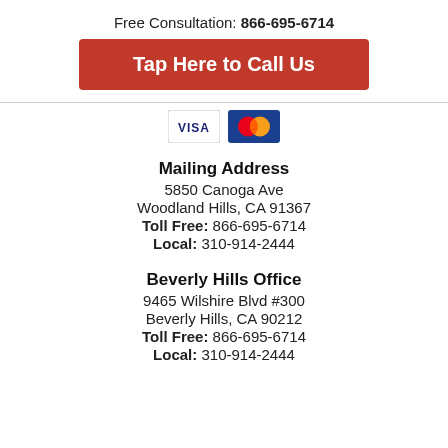Free Consultation: 866-695-6714
Tap Here to Call Us
[Figure (other): Payment card logos: Visa and Mastercard]
Mailing Address
5850 Canoga Ave
Woodland Hills, CA 91367
Toll Free: 866-695-6714
Local: 310-914-2444
Beverly Hills Office
9465 Wilshire Blvd #300
Beverly Hills, CA 90212
Toll Free: 866-695-6714
Local: 310-914-2444